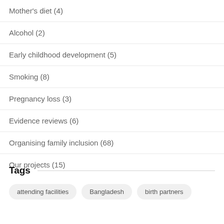Mother's diet (4)
Alcohol (2)
Early childhood development (5)
Smoking (8)
Pregnancy loss (3)
Evidence reviews (6)
Organising family inclusion (68)
Our projects (15)
Tags
attending facilities  Bangladesh  birth partners